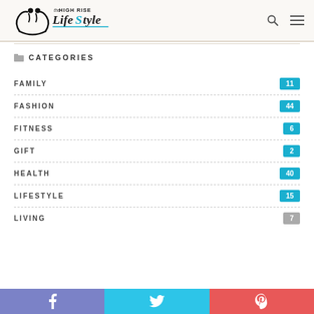The High Rise LifeStyle — logo with search and menu icons
CATEGORIES
FAMILY 11
FASHION 44
FITNESS 6
GIFT 2
HEALTH 40
LIFESTYLE 15
LIVING 7
Facebook Twitter Pinterest share buttons